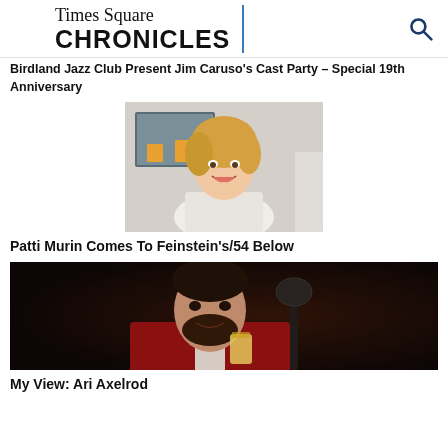Times Square CHRONICLES
Birdland Jazz Club Present Jim Caruso's Cast Party – Special 19th Anniversary
[Figure (photo): Photo of a smiling blonde woman in a white top, hands clasped near chin, with artwork on wall behind her]
Patti Murin Comes To Feinstein's/54 Below
[Figure (photo): Dark photo of a bearded man in a red jacket holding a drink near a microphone]
My View: Ari Axelrod